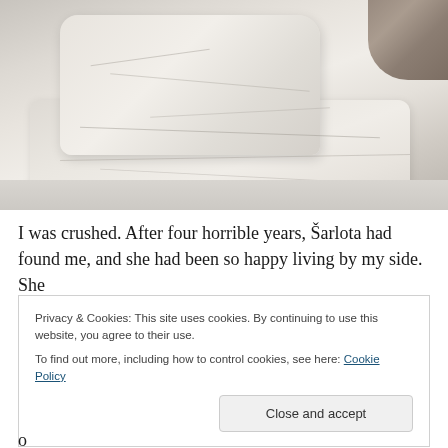[Figure (photo): Close-up photo of a white/cream leather sofa or couch cushion with visible creases and wear marks, with a patterned throw blanket visible in the top right corner]
I was crushed. After four horrible years, Šarlota had found me, and she had been so happy living by my side. She
Privacy & Cookies: This site uses cookies. By continuing to use this website, you agree to their use.
To find out more, including how to control cookies, see here: Cookie Policy
[Close and accept]
o